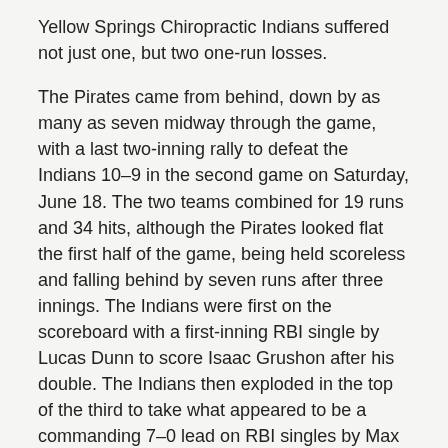Yellow Springs Chiropractic Indians suffered not just one, but two one-run losses.
The Pirates came from behind, down by as many as seven midway through the game, with a last two-inning rally to defeat the Indians 10–9 in the second game on Saturday, June 18. The two teams combined for 19 runs and 34 hits, although the Pirates looked flat the first half of the game, being held scoreless and falling behind by seven runs after three innings. The Indians were first on the scoreboard with a first-inning RBI single by Lucas Dunn to score Isaac Grushon after his double. The Indians then exploded in the top of the third to take what appeared to be a commanding 7–0 lead on RBI singles by Max Lugo, Anthony Mascola, Josephine Zinger, Hope Danis and Lily Kibblewhite along with Brady Baker's sacrifice grounder.